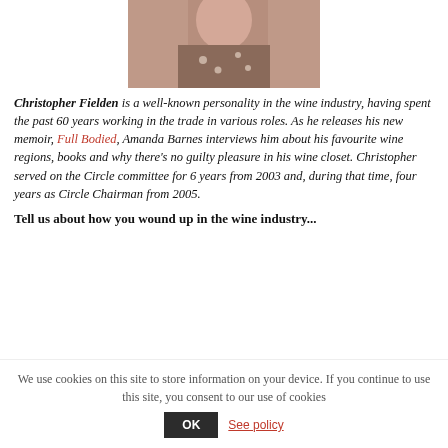[Figure (photo): Partial photo of a person, partially cropped at top, showing torso with floral clothing]
Christopher Fielden is a well-known personality in the wine industry, having spent the past 60 years working in the trade in various roles. As he releases his new memoir, Full Bodied, Amanda Barnes interviews him about his favourite wine regions, books and why there's no guilty pleasure in his wine closet. Christopher served on the Circle committee for 6 years from 2003 and, during that time, four years as Circle Chairman from 2005.
Tell us about how you wound up in the wine industry...
We use cookies on this site to store information on your device. If you continue to use this site, you consent to our use of cookies
OK  See policy